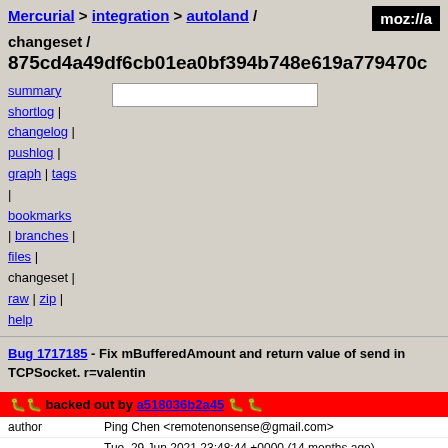Mercurial > integration > autoland / changeset / 875cd4a49df6cb01ea0bf394b748e619a779470c
summary | shortlog | changelog | pushlog | graph | tags | bookmarks | branches | files | changeset | raw | zip | help
Bug 1717185 - Fix mBufferedAmount and return value of send in TCPSocket. r=valentin
backed out by a518036b2a45
|  |  |
| --- | --- |
| author | Ping Chen <remotenonsense@gmail.com> |
|  | Tue, 29 Jun 2021 23:48:44 +0000 (14 months ago) |
| changeset 584674 | 875cd4a49df6cb01ea0bf394b748e619a779470c |
| parent 584673 | 9d9554e0c2c7f8354b21412e7a99e97a20123a14 |
| child 584675 | a518036b2a45421b912ce00efe52b06bba66f330 |
| push id | 145734 |